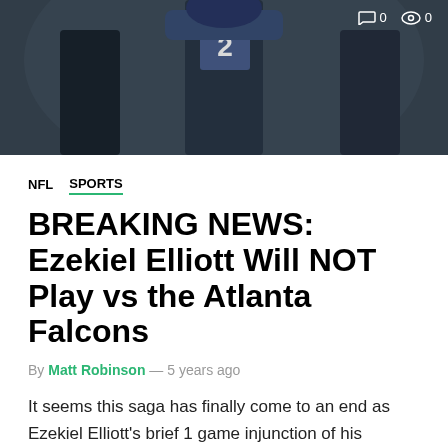[Figure (photo): NFL player (Dallas Cowboys) in uniform, dark background, with comment and view count icons (0, 0) in top right corner]
NFL  SPORTS
BREAKING NEWS: Ezekiel Elliott Will NOT Play vs the Atlanta Falcons
By Matt Robinson — 5 years ago
It seems this saga has finally come to an end as Ezekiel Elliott's brief 1 game injunction of his suspension is now over, and Zeke will begin his 6 game suspension this week. The Cowboys go to Atlanta to play the 4-4 Falcons. If all goes as planned, Zeke should be ready to join his